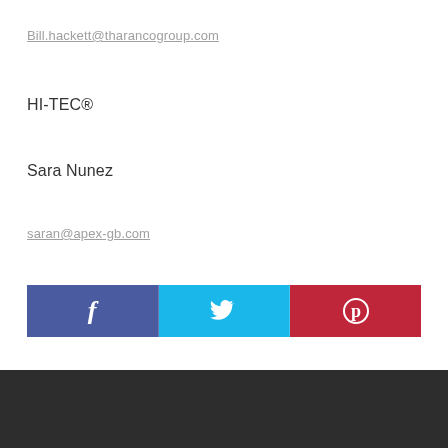Bill.hackett@tharancogroup.com
HI-TEC®
Sara Nunez
saran@apex-gb.com
[Figure (infographic): Social media share buttons: Facebook (blue), Twitter (cyan), Pinterest (red), each with their respective icons in white]